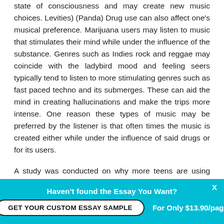state of consciousness and may create new music choices. Levities) (Panda) Drug use can also affect one's musical preference. Marijuana users may listen to music that stimulates their mind while under the influence of the substance. Genres such as Indies rock and reggae may coincide with the ladybird mood and feeling seers typically tend to listen to more stimulating genres such as fast paced techno and its submerges. These can aid the mind in creating hallucinations and make the trips more intense. One reason these types of music may be preferred by the listener is that often times the music is created either while under the influence of said drugs or for its users.
A study was conducted on why more teens are using drugs in 1996. The results showed that friends who were under the influence influenced not only the marijuana drug upon their friends but also influenced the music that they listened to
Haven't found the Essay You Want? GET YOUR CUSTOM ESSAY SAMPLE For Only $13.90/page